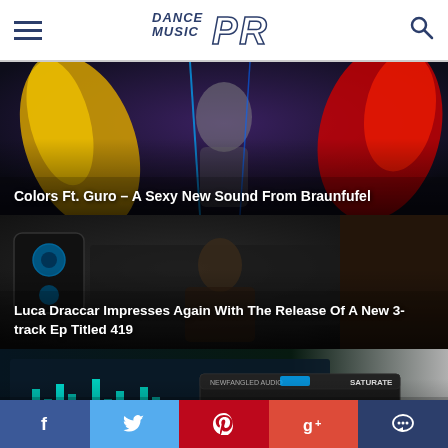Dance Music PR
[Figure (screenshot): Article hero image: colorful abstract figure with neon colors yellow, blue, red on dark background. Article title overlay: Colors Ft. Guro – A Sexy New Sound From Braunfufel]
Colors Ft. Guro – A Sexy New Sound From Braunfufel
[Figure (screenshot): Article hero image: DJ/producer with sunglasses and floral shirt in studio setting with speakers and equipment. Article title overlay: Luca Draccar Impresses Again With The Release Of A New 3-track Ep Titled 419]
Luca Draccar Impresses Again With The Release Of A New 3-track Ep Titled 419
[Figure (screenshot): Article hero image: Audio mixing/mastering software interface, Newfangled Audio Elevate plugin. Article title overlay: WANT REALLY LOUD MASTERS WITHOUT LOSING QUALITY? TRY NEWFANGLED AUDIO ELEVATE!]
WANT REALLY LOUD MASTERS WITHOUT LOSING QUALITY? TRY NEWFANGLED AUDIO ELEVATE!
f  Twitter  Pinterest  g+  Chat